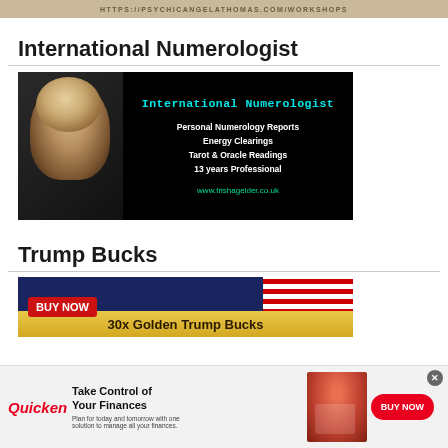HTTPS://PSYCHICANGELATHOMAS.COM/WORKSHOPS
International Numerologist
[Figure (photo): Advertisement banner for International Numerologist Trisha Gelder. Black background with woman's photo on left. Text: 'International Numerologist', 'Personal Numerology Reports', 'Energy Clearings', 'Tarot & Oracle Readings', '13 years Professional', 'www.trishagelder.co.uk']
Trump Bucks
[Figure (photo): Advertisement image for Trump Bucks with 'BUY NOW' red banner and '30x Golden Trump Bucks' text on gold/yellow background with American flag imagery]
[Figure (photo): Bottom banner advertisement for Quicken. Shows Quicken logo in red italic, 'Take Control of Your Finances' headline, 'Plan for today and tomorrow with one solution to manage all your finances.' subtext, woman working at desk image, and red BUY NOW button. Close X button in top right.]